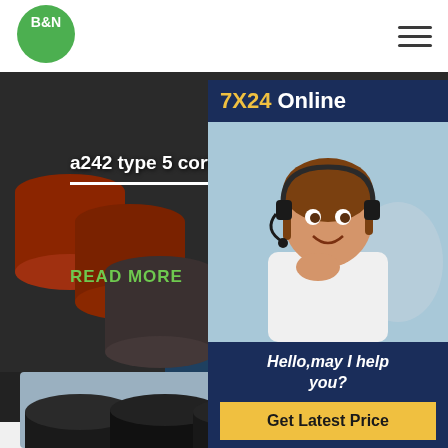[Figure (logo): B&N green circular logo with white text]
[Figure (photo): Steel pipes stacked together, dark background industrial scene with red and blue pipes]
a242 type 5 corten plate thic
READ MORE
[Figure (photo): Customer support agent wearing headset, smiling woman in white shirt with 7X24 Online banner]
Hello,may I help you?
Get Latest Price
[Figure (photo): Large black steel pipes with a red crane structure in the background, industrial steel pipe yard]